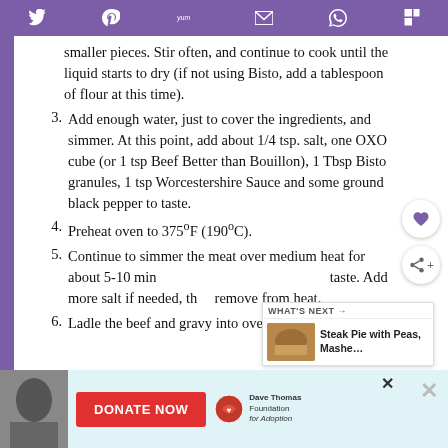Social share bar with icons: Twitter, Pinterest, Yummly, Email, WhatsApp, Flipboard
smaller pieces. Stir often, and continue to cook until the liquid starts to dry (if not using Bisto, add a tablespoon of flour at this time).
3. Add enough water, just to cover the ingredients, and simmer. At this point, add about 1/4 tsp. salt, one OXO cube (or 1 tsp Beef Better than Bouillon), 1 Tbsp Bisto granules, 1 tsp Worcestershire Sauce and some ground black pepper to taste.
4. Preheat oven to 375°F (190°C).
5. Continue to simmer the meat over medium heat for about 5-10 min taste. Add more salt if needed, then remove from heat.
6. Ladle the beef and gravy into oven safe
[Figure (infographic): What's Next panel showing Steak Pie with Peas, Mashe... with a food photo]
[Figure (infographic): Bottom advertisement bar with Donate Now button for Dave Thomas Foundation for Adoption]